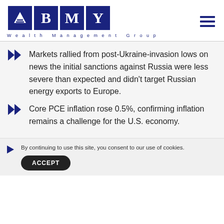[Figure (logo): BMY Wealth Management Group logo with blue squares containing a mountain/triangle icon, B, M, Y letters and subtitle 'Wealth Management Group']
Markets rallied from post-Ukraine-invasion lows on news the initial sanctions against Russia were less severe than expected and didn't target Russian energy exports to Europe.
Core PCE inflation rose 0.5%, confirming inflation remains a challenge for the U.S. economy.
By continuing to use this site, you consent to our use of cookies.
ACCEPT